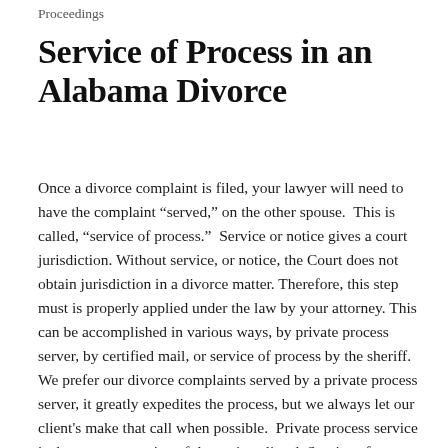Proceedings
Service of Process in an Alabama Divorce
Once a divorce complaint is filed, your lawyer will need to have the complaint “served,” on the other spouse. This is called, “service of process.” Service or notice gives a court jurisdiction. Without service, or notice, the Court does not obtain jurisdiction in a divorce matter. Therefore, this step must is properly applied under the law by your attorney. This can be accomplished in various ways, by private process server, by certified mail, or service of process by the sheriff. We prefer our divorce complaints served by a private process server, it greatly expedites the process, but we always let our client's make that call when possible. Private process service is the more expensive of the options listed. Service of process is effectuated by simply serving a